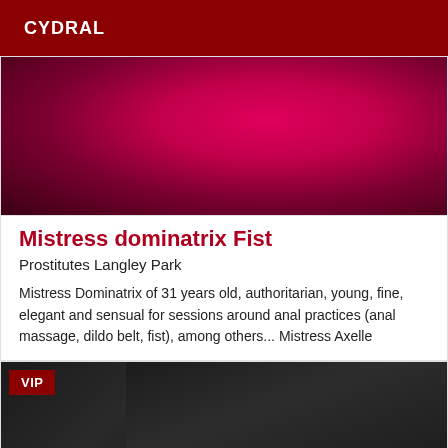CYDRAL
[Figure (photo): Close-up photo of a deep magenta/crimson rounded surface — abstract, dark red tones with a large circular shape.]
Mistress dominatrix Fist
Prostitutes Langley Park
Mistress Dominatrix of 31 years old, authoritarian, young, fine, elegant and sensual for sessions around anal practices (anal massage, dildo belt, fist), among others... Mistress Axelle
[Figure (photo): Dark photo showing a person wearing black leather/latex outfit, partial view of collar area. VIP badge overlaid in top-left corner.]